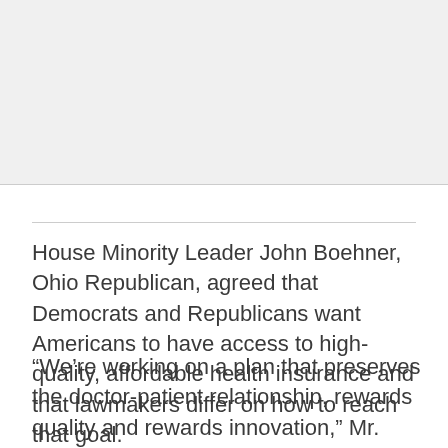[Figure (photo): Gray placeholder image area at the top of the page]
House Minority Leader John Boehner, Ohio Republican, agreed that Democrats and Republicans want Americans to have access to high-quality, affordable health insurance and that lawmakers differ on how to reach that goal.
“We’re working on a plan that preserves the doctor-patient relationship, rewards quality and rewards innovation,” Mr. Boehner said. “We’re not for a plan that puts the government in charge of our health care,